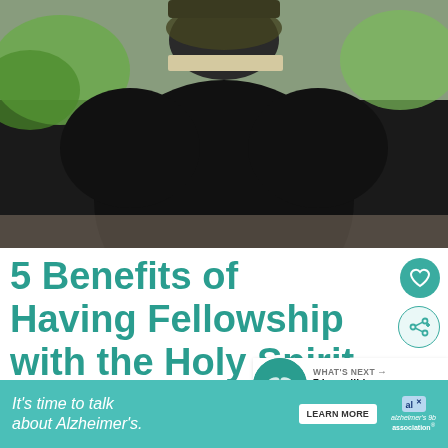[Figure (photo): Person seated from behind, wearing dark clothing and a patterned head covering, holding an open book. Outdoor background with green foliage.]
5 Benefits of Having Fellowship with the Holy Spirit
[Figure (infographic): Heart (favorite) button and share button icons on the right side]
[Figure (infographic): What's Next badge with circular image and text '7 Incredible Characteristi...']
[Figure (infographic): Alzheimer's Association advertisement banner: 'It's time to talk about Alzheimer's.' with LEARN MORE button]